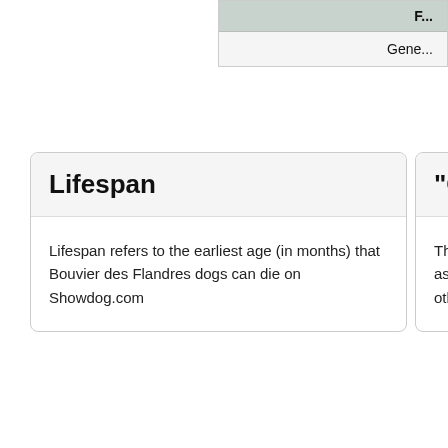| F... |  |
| --- | --- |
| Gene... |
Lifespan
Lifespan refers to the earliest age (in months) that Bouvier des Flandres dogs can die on Showdog.com
"General"
The "General" fac... as show shine an... other genetic trai...
Our Games
Showcats.com
Showcattle.com
Showgoat.com
Showhog.com
Showhorse.com
Showlamb.com
Showrabbits.com
Trophyhorse.com
Showdog.com
Terms and Conditions
Privacy Policy